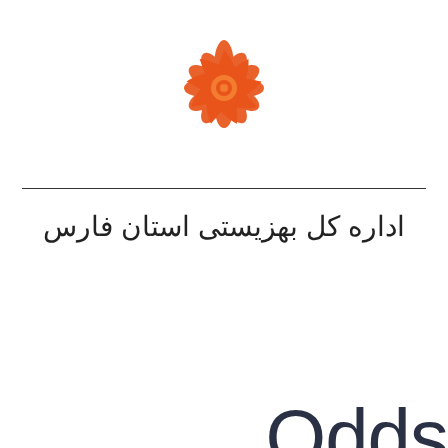[Figure (logo): Orange flower/rosette logo of Behzisti organization]
اداره کل بهزیستی استان فارس
Sports Betting Odds